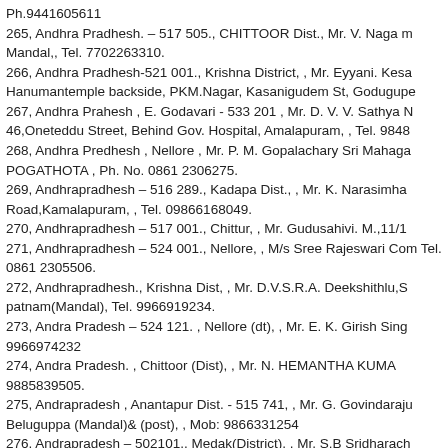Ph.9441605611
265, Andhra Pradhesh. – 517 505., CHITTOOR Dist., Mr. V. Naga m Mandal,, Tel. 7702263310.
266, Andhra Pradhesh-521 001., Krishna District, , Mr. Eyyani. Kesa Hanumantemple backside, PKM.Nagar, Kasanigudem St, Godugupe
267, Andhra Prahesh , E. Godavari - 533 201 , Mr. D. V. V. Sathya N 46,Oneteddu Street, Behind Gov. Hospital, Amalapuram, , Tel. 9848
268, Andhra Predhesh , Nellore , Mr. P. M. Gopalachary Sri Mahaga POGATHOTA , Ph. No. 0861 2306275.
269, Andhrapradhesh – 516 289., Kadapa Dist., , Mr. K. Narasimha Road,Kamalapuram, , Tel. 09866168049.
270, Andhrapradhesh – 517 001., Chittur, , Mr. Gudusahivi. M.,11/1
271, Andhrapradhesh – 524 001., Nellore, , M/s Sree Rajeswari Com Tel. 0861 2305506.
272, Andhrapradhesh., Krishna Dist, , Mr. D.V.S.R.A. Deekshithlu,S patnam(Mandal), Tel. 9966919234.
273, Andra Pradesh – 524 121. , Nellore (dt), , Mr. E. K. Girish Sing 9966974232
274, Andra Pradesh. , Chittoor (Dist), , Mr. N. HEMANTHA KUMA 9885839505.
275, Andrapradesh , Anantapur Dist. - 515 741, , Mr. G. Govindaraju Beluguppa (Mandal)& (post), , Mob: 9866331254
276, Andrapradesh – 502101., Medak(District), , Mr. S.B Sridharach mandirRajendranagarRamayampet(Po) , Tel. 919666633645.
277, Andrapradesh – 515001., Anantapur, , Mr. Satyanarayana Shast hava, Near Matri Hospital, Kamalanagar, Tel. 9618969435.